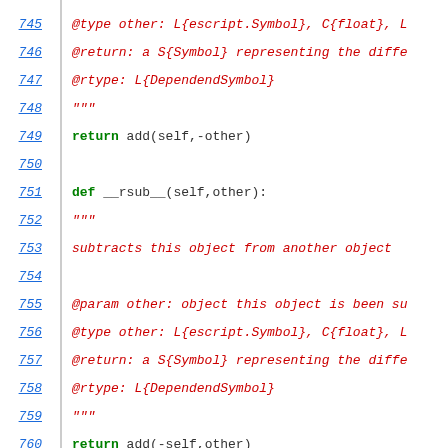[Figure (screenshot): Source code listing (Python) showing lines 745-767 with line numbers, docstrings, and method definitions for __rsub__ and __mul__ methods.]